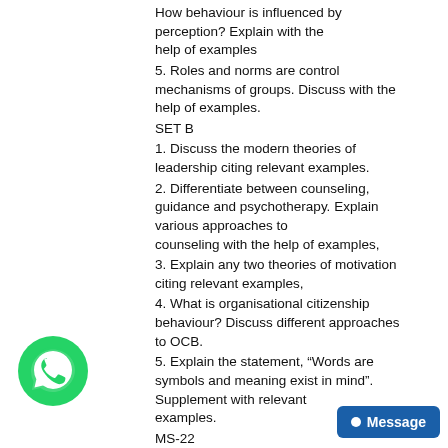How behaviour is influenced by perception? Explain with the help of examples
5. Roles and norms are control mechanisms of groups. Discuss with the help of examples.
SET B
1. Discuss the modern theories of leadership citing relevant examples.
2. Differentiate between counseling, guidance and psychotherapy. Explain various approaches to counseling with the help of examples,
3. Explain any two theories of motivation citing relevant examples,
4. What is organisational citizenship behaviour? Discuss different approaches to OCB.
5. Explain the statement, “Words are symbols and meaning exist in mind”. Supplement with relevant examples.
MS-22
Management Programme
ASSIGNMENT
[Figure (logo): WhatsApp green circle icon]
[Figure (other): Blue Message button with white dot]